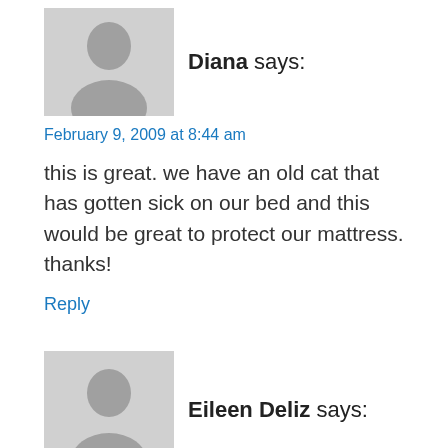[Figure (illustration): Generic user avatar placeholder - gray silhouette of a person on light gray background]
Diana says:
February 9, 2009 at 8:44 am
this is great. we have an old cat that has gotten sick on our bed and this would be great to protect our mattress. thanks!
Reply
[Figure (illustration): Generic user avatar placeholder - gray silhouette of a person on light gray background]
Eileen Deliz says:
February 9, 2009 at 8:11 am
Both my son and husband suffer from allergies and have an allergen fighting bed cover would be incredible. With all that we read about how important a good sleep is to your well being, this type of item